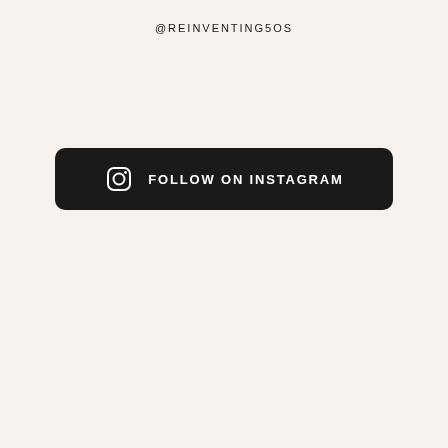@REINVENTING5OS
[Figure (other): Black rounded rectangle button with Instagram camera icon on the left and bold white uppercase text reading 'FOLLOW ON INSTAGRAM']